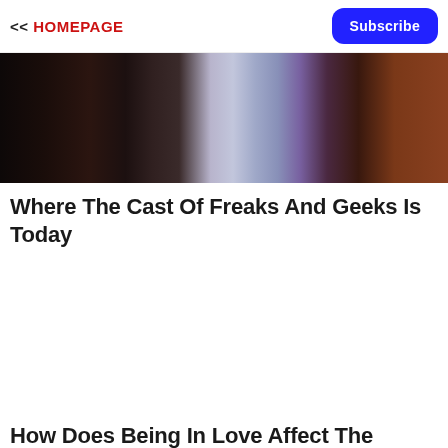<< HOMEPAGE  Subscribe
[Figure (photo): Dark close-up photo of a person wearing a black jacket over a patterned/striped top, cropped at upper body]
Where The Cast Of Freaks And Geeks Is Today
[Figure (other): Advertisement space (blank white area)]
How Does Being In Love Affect The Brain?
[Figure (photo): Row of thumbnail images: light-toned room interior, dark reddish/brown textured image, green plant/leaf, wood-toned room interior]